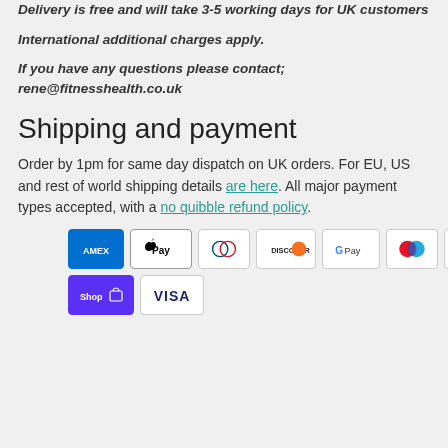Delivery is free and will take 3-5 working days for UK customers
International additional charges apply.
If you have any questions please contact; rene@fitnesshealth.co.uk
Shipping and payment
Order by 1pm for same day dispatch on UK orders. For EU, US and rest of world shipping details are here. All major payment types accepted, with a no quibble refund policy.
[Figure (other): Payment method icons: American Express, Apple Pay, Diners Club, Discover, Google Pay, Maestro, Mastercard, PayPal, Shop Pay, Visa]